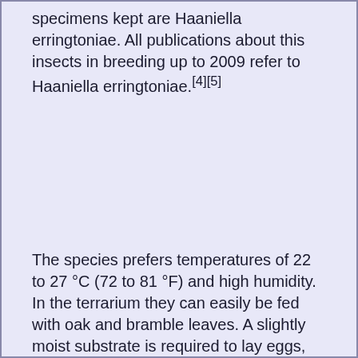specimens kept are Haaniella erringtoniae. All publications about this insects in breeding up to 2009 refer to Haaniella erringtoniae.[4][5]
The species prefers temperatures of 22 to 27 °C (72 to 81 °F) and high humidity. In the terrarium they can easily be fed with oak and bramble leaves. A slightly moist substrate is required to lay eggs, which should